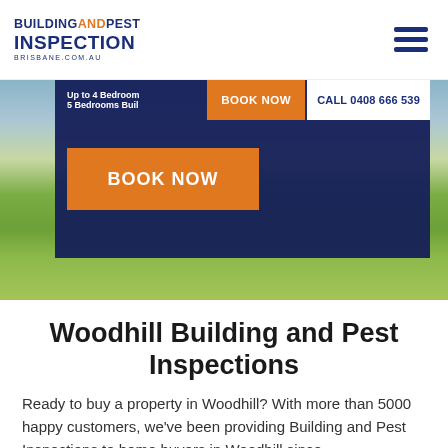[Figure (logo): Building and Pest Inspection Brisbane logo with blue and orange text]
[Figure (screenshot): Hero image of outdoor grass/garden area with dark navy overlay panel containing 'Up to 4 Bedrooms' and '5 Bedrooms Bui...' text, BOOK NOW orange button, and a sticky bar with BOOK NOW and CALL 0408 666 539]
Woodhill Building and Pest Inspections
Ready to buy a property in Woodhill? With more than 5000 happy customers, we've been providing Building and Pest Inspections to home buyers in Woodhill since